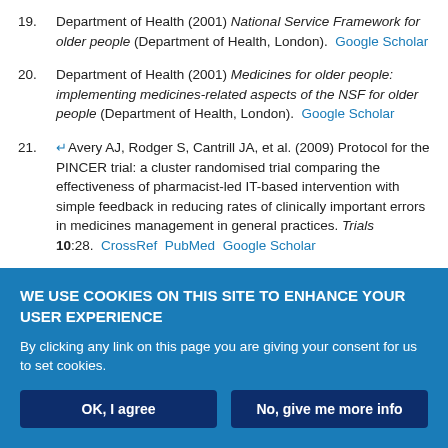19. Department of Health (2001) National Service Framework for older people (Department of Health, London). Google Scholar
20. Department of Health (2001) Medicines for older people: implementing medicines-related aspects of the NSF for older people (Department of Health, London). Google Scholar
21. ↩Avery AJ, Rodger S, Cantrill JA, et al. (2009) Protocol for the PINCER trial: a cluster randomised trial comparing the effectiveness of pharmacist-led IT-based intervention with simple feedback in reducing rates of clinically important errors in medicines management in general practices. Trials 10:28. CrossRef PubMed Google Scholar
22. ↩Morris CJ, Rodgers S, Hammersley VS, et al. (2004) Indicators for preventable drug related morbidity: application in primary care. Qual Saf
WE USE COOKIES ON THIS SITE TO ENHANCE YOUR USER EXPERIENCE
By clicking any link on this page you are giving your consent for us to set cookies.
OK, I agree | No, give me more info